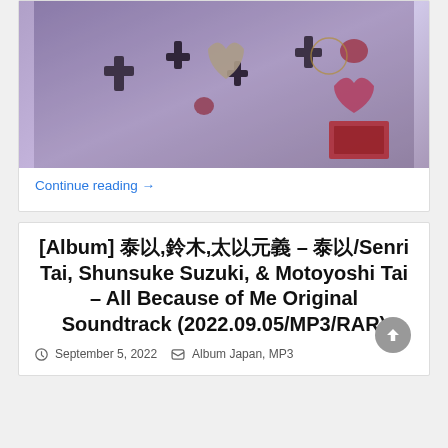[Figure (photo): Photo of various crosses, hearts, and religious decorative metal charms/ornaments mounted on a wall with purple/blue lighting]
Continue reading →
[Album] 泰以, 鈴木, 太以元義 – 泰以 / Senri Tai, Shunsuke Suzuki, & Motoyoshi Tai – All Because of Me Original Soundtrack (2022.09.05/MP3/RAR)
September 5, 2022   Album Japan, MP3